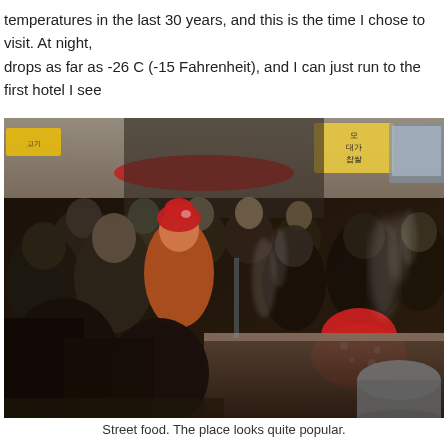temperatures in the last 30 years, and this is the time I chose to visit. At night, drops as far as -26 C (-15 Fahrenheit), and I can just run to the first hotel I see dead.
[Figure (photo): Crowded street food market scene, likely in South Korea, at night. Many people bundled in winter clothes. Vendors in red winter hats serve steaming food at a counter. Korean signs visible in background. Steam rises from cooking pots.]
Street food. The place looks quite popular.